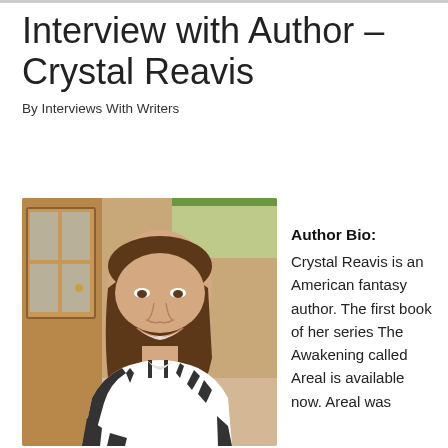Interview with Author – Crystal Reavis
By Interviews With Writers
[Figure (photo): Photo of Crystal Reavis, a smiling woman with brown hair pulled back, wearing a black and white striped shirt, standing indoors near wooden cabinet with glass doors.]
Author Bio: Crystal Reavis is an American fantasy author. The first book of her series The Awakening called Areal is available now. Areal was